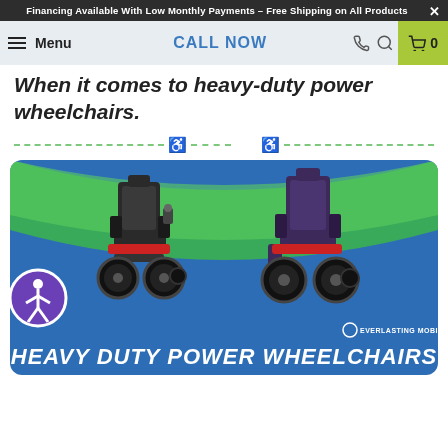Financing Available With Low Monthly Payments – Free Shipping on All Products
Menu | CALL NOW | 0
When it comes to heavy-duty power wheelchairs.
[Figure (infographic): Banner image showing two heavy duty power wheelchairs (one black, one red/black) on a blue and green wave background with text 'HEAVY DUTY POWER WHEELCHAIRS' and Everlasting Mobility logo]